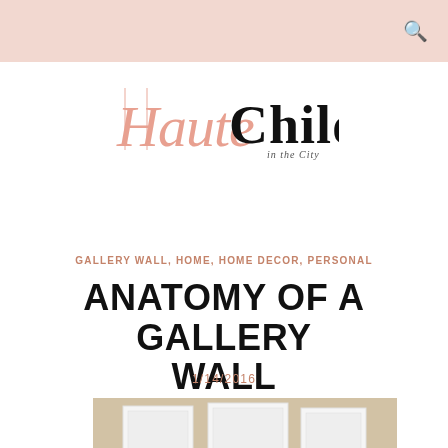[Figure (logo): Haute Child in the City blog logo with pink script 'Haute' and black serif 'Child' text]
GALLERY WALL, HOME, HOME DECOR, PERSONAL
ANATOMY OF A GALLERY WALL
1/14/2016
[Figure (photo): Partial photo of a gallery wall with white frames on a beige/tan wall, bottom portion visible]